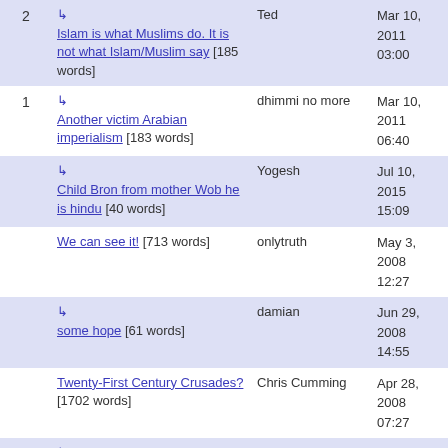| # | Title | Author | Date |
| --- | --- | --- | --- |
| 2 | ↳ Islam is what Muslims do. It is not what Islam/Muslim say [185 words] | Ted | Mar 10, 2011 03:00 |
| 1 | ↳ Another victim Arabian imperialism [183 words] | dhimmi no more | Mar 10, 2011 06:40 |
|  | ↳ Child Bron from mother Wob he is hindu [40 words] | Yogesh | Jul 10, 2015 15:09 |
|  | We can see it! [713 words] | onlytruth | May 3, 2008 12:27 |
|  | ↳ some hope [61 words] | damian | Jun 29, 2008 14:55 |
|  | Twenty-First Century Crusades? [1702 words] | Chris Cumming | Apr 28, 2008 07:27 |
|  | ↳ There was only 1 thing wrong with the Crusades [23 words] | Tom Dundee | Feb 27, 2010 21:03 |
| 1 | Blind tolerance is new to history [560 words] | onlytruth | Apr 24, 2008 19:49 |